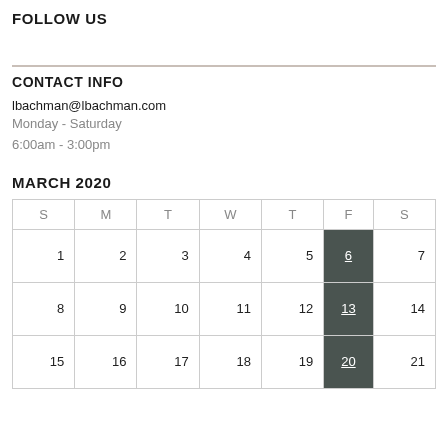FOLLOW US
CONTACT INFO
lbachman@lbachman.com
Monday - Saturday
6:00am - 3:00pm
MARCH 2020
| S | M | T | W | T | F | S |
| --- | --- | --- | --- | --- | --- | --- |
| 1 | 2 | 3 | 4 | 5 | 6 | 7 |
| 8 | 9 | 10 | 11 | 12 | 13 | 14 |
| 15 | 16 | 17 | 18 | 19 | 20 | 21 |